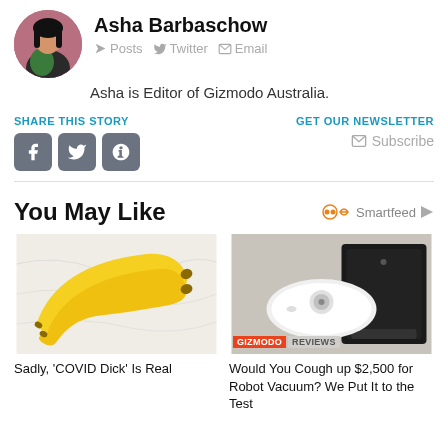Asha Barbaschow
Posts  Twitter  Email
Asha is Editor of Gizmodo Australia.
SHARE THIS STORY
GET OUR NEWSLETTER
Subscribe
You May Like
[Figure (photo): Banana peels on white marble surface]
Sadly, 'COVID Dick' Is Real
[Figure (photo): Robot vacuum cleaner with docking station, labeled GIZMODO REVIEWS]
Would You Cough up $2,500 for Robot Vacuum? We Put It to the Test